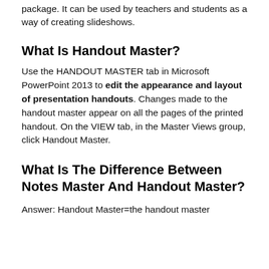package. It can be used by teachers and students as a way of creating slideshows.
What Is Handout Master?
Use the HANDOUT MASTER tab in Microsoft PowerPoint 2013 to edit the appearance and layout of presentation handouts. Changes made to the handout master appear on all the pages of the printed handout. On the VIEW tab, in the Master Views group, click Handout Master.
What Is The Difference Between Notes Master And Handout Master?
Answer: Handout Master=the handout master